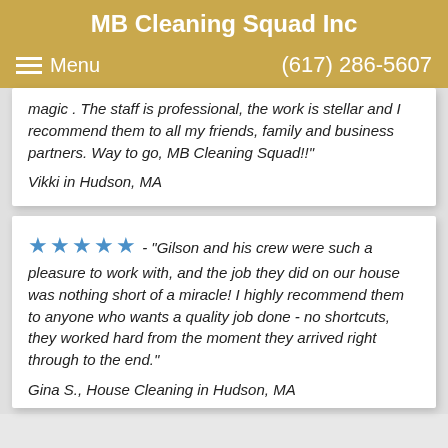MB Cleaning Squad Inc
Menu  (617) 286-5607
magic . The staff is professional, the work is stellar and I recommend them to all my friends, family and business partners. Way to go, MB Cleaning Squad!!
Vikki in Hudson, MA
★★★★★ - "Gilson and his crew were such a pleasure to work with, and the job they did on our house was nothing short of a miracle! I highly recommend them to anyone who wants a quality job done - no shortcuts, they worked hard from the moment they arrived right through to the end."
Gina S., House Cleaning in Hudson, MA